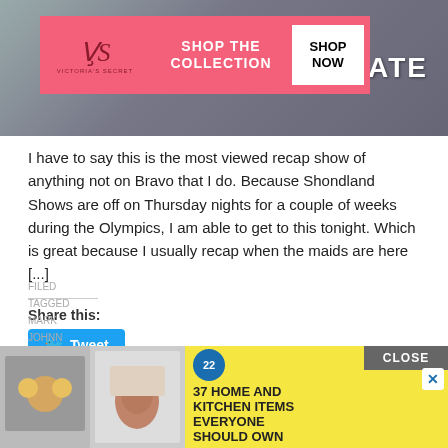[Figure (photo): Background photo showing a person with text 'INMATE' visible, overlaid with Victoria's Secret advertisement banner with pink background, VS logo, 'SHOP THE COLLECTION' text, and 'SHOP NOW' button]
I have to say this is the most viewed recap show of anything not on Bravo that I do. Because Shondland Shows are off on Thursday nights for a couple of weeks during the Olympics, I am able to get to this tonight. Which is great because I usually recap when the maids are here [...]
Share this:
Tweet
FILED
TAGGED
MARK
JOHNN
[Figure (photo): Bottom advertisement banner with yellow background showing food images on left, and text '37 HOME AND KITCHEN ITEMS EVERYONE SHOULD OWN' with BuzzFeed 22 badge, and CLOSE button]